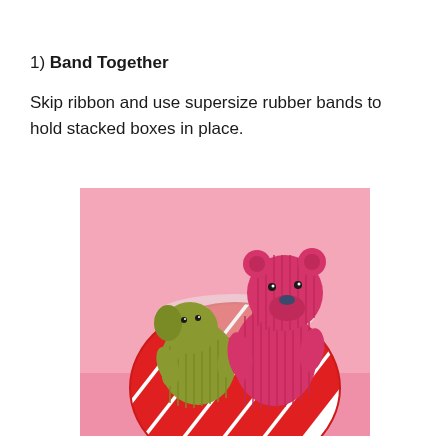1) Band Together
Skip ribbon and use supersize rubber bands to hold stacked boxes in place.
[Figure (photo): Two corduroy stuffed animals — a yellow-green elephant and a pink bear — sitting inside a large red and white diagonal-striped gift bag against a pink background.]